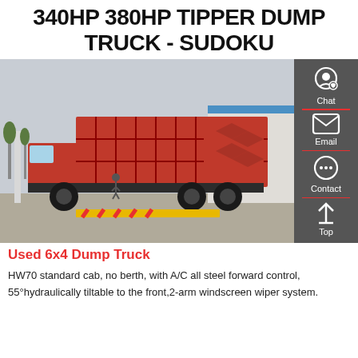340HP 380HP TIPPER DUMP TRUCK - SUDOKU
[Figure (photo): Red 6x4 dump truck parked in an industrial yard, side/rear view, with a large red tipper body. A building and wind turbine parts visible in the background.]
Used 6x4 Dump Truck
HW70 standard cab, no berth, with A/C all steel forward control, 55°hydraulically tiltable to the front,2-arm windscreen wiper system.